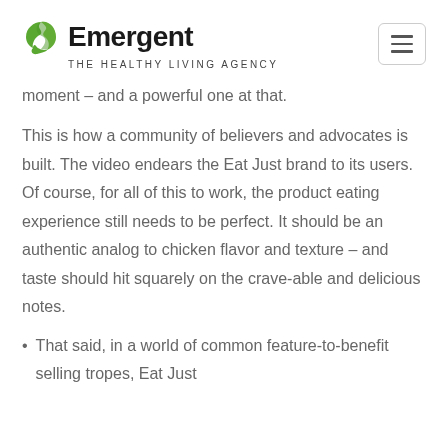[Figure (logo): Emergent The Healthy Living Agency logo with green circular leaf icon]
moment – and a powerful one at that.
This is how a community of believers and advocates is built. The video endears the Eat Just brand to its users. Of course, for all of this to work, the product eating experience still needs to be perfect. It should be an authentic analog to chicken flavor and texture – and taste should hit squarely on the crave-able and delicious notes.
That said, in a world of common feature-to-benefit selling tropes, Eat Just